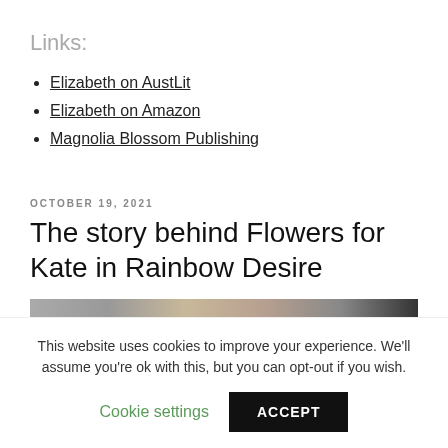Links:
Elizabeth on AustLit
Elizabeth on Amazon
Magnolia Blossom Publishing
OCTOBER 19, 2021
The story behind Flowers for Kate in Rainbow Desire
[Figure (photo): Partial photo of a person, cropped at top of frame, dark and light tones]
This website uses cookies to improve your experience. We'll assume you're ok with this, but you can opt-out if you wish.
Cookie settings   ACCEPT